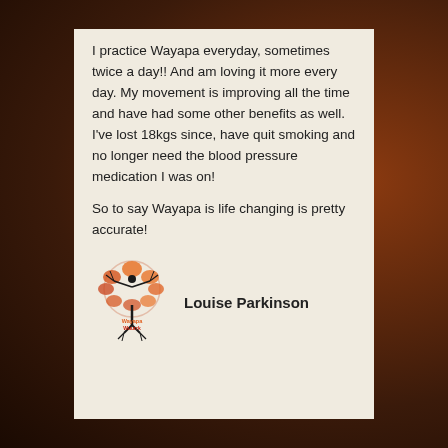I practice Wayapa everyday, sometimes twice a day!! And am loving it more every day. My movement is improving all the time and have had some other benefits as well. I've lost 18kgs since, have quit smoking and no longer need the blood pressure medication I was on!

So to say Wayapa is life changing is pretty accurate!
[Figure (logo): Wayapa Wuurrk logo: a stylized human figure with tree branches forming arms and a circular canopy of orange/red autumn leaves, with roots at the bottom. Text 'Wayapa Wuurrk' in orange and red below.]
Louise Parkinson